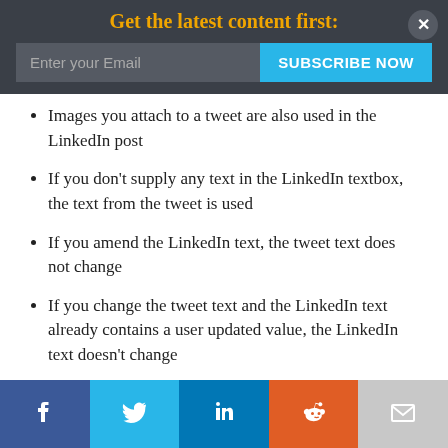Get the latest content first:
Images you attach to a tweet are also used in the LinkedIn post
If you don't supply any text in the LinkedIn textbox, the text from the tweet is used
If you amend the LinkedIn text, the tweet text does not change
If you change the tweet text and the LinkedIn text already contains a user updated value, the LinkedIn text doesn't change
Facebook | Twitter | LinkedIn | Reddit | Email